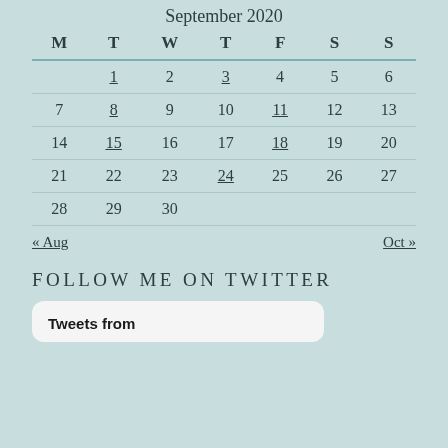September 2020
| M | T | W | T | F | S | S |
| --- | --- | --- | --- | --- | --- | --- |
|  | 1 | 2 | 3 | 4 | 5 | 6 |
| 7 | 8 | 9 | 10 | 11 | 12 | 13 |
| 14 | 15 | 16 | 17 | 18 | 19 | 20 |
| 21 | 22 | 23 | 24 | 25 | 26 | 27 |
| 28 | 29 | 30 |  |  |  |  |
« Aug    Oct »
FOLLOW ME ON TWITTER
Tweets from